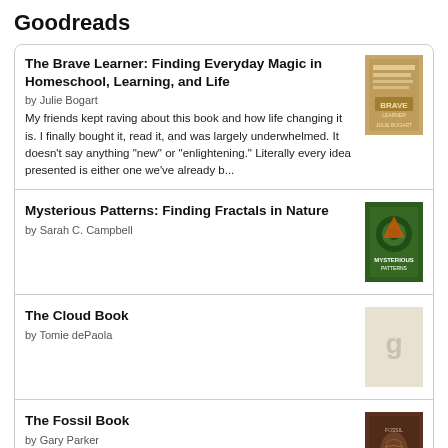Goodreads
The Brave Learner: Finding Everyday Magic in Homeschool, Learning, and Life
by Julie Bogart
My friends kept raving about this book and how life changing it is. I finally bought it, read it, and was largely underwhelmed. It doesn't say anything "new" or "enlightening." Literally every idea presented is either one we've already b...
Mysterious Patterns: Finding Fractals in Nature
by Sarah C. Campbell
The Cloud Book
by Tomie dePaola
The Fossil Book
by Gary Parker